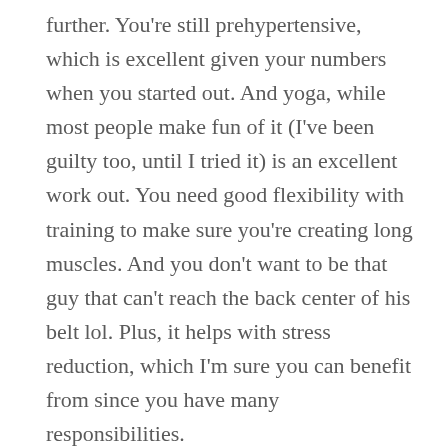further. You're still prehypertensive, which is excellent given your numbers when you started out. And yoga, while most people make fun of it (I've been guilty too, until I tried it) is an excellent work out. You need good flexibility with training to make sure you're creating long muscles. And you don't want to be that guy that can't reach the back center of his belt lol. Plus, it helps with stress reduction, which I'm sure you can benefit from since you have many responsibilities.
Stress can actually make our bodies forget to breathe and frequently causes us to take shallower breaths. This means our lungs don't get inflated to capacity and, therefore, we don't get the oxygen we